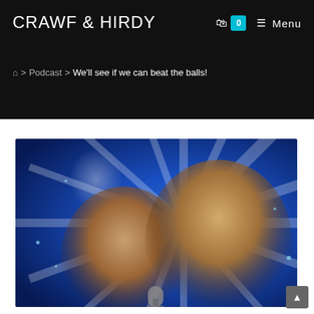CRAWF & HIRDY
🛍 0  ☰ Menu
🏠 > Podcast > We'll see if we can beat the balls!
[Figure (photo): Two men's faces composited onto a blue starburst background with a microphone, podcast promotional image. A ghostly third face appears faintly in the upper left area.]